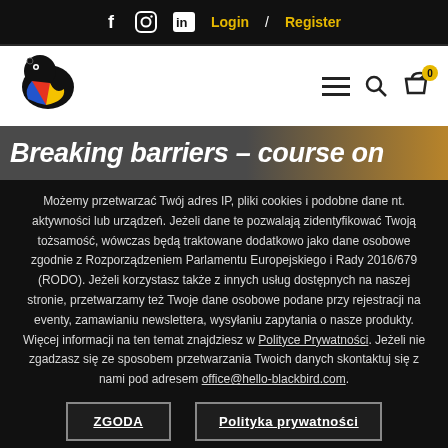f  ig  in  Login / Register
[Figure (logo): Blackbird logo - stylized bird head in black with colorful beak (red, yellow, blue)]
Breaking barriers – course on
Możemy przetwarzać Twój adres IP, pliki cookies i podobne dane nt. aktywności lub urządzeń. Jeżeli dane te pozwalają zidentyfikować Twoją tożsamość, wówczas będą traktowane dodatkowo jako dane osobowe zgodnie z Rozporządzeniem Parlamentu Europejskiego i Rady 2016/679 (RODO). Jeżeli korzystasz także z innych usług dostępnych na naszej stronie, przetwarzamy też Twoje dane osobowe podane przy rejestracji na eventy, zamawianiu newslettera, wysyłaniu zapytania o nasze produkty. Więcej informacji na ten temat znajdziesz w Polityce Prywatności. Jeżeli nie zgadzasz się ze sposobem przetwarzania Twoich danych skontaktuj się z nami pod adresem office@hello-blackbird.com.
ZGODA
Polityka prywatności